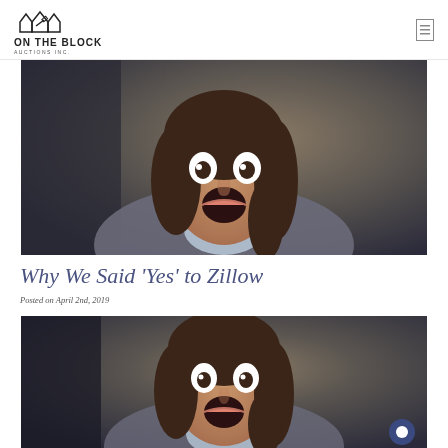ON THE BLOCK AUCTIONS INC.
[Figure (photo): A woman with long dark hair and wide-open mouth expressing shock or surprise, wearing a grey blazer over a light blue collared shirt, dark blurred background.]
Why We Said 'Yes' to Zillow
Posted on April 2nd, 2019
[Figure (photo): Same woman with long dark hair and wide-open mouth and wide eyes expressing shock or surprise, partial view, dark background.]